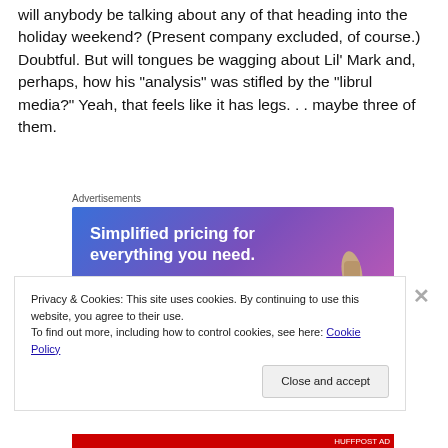will anybody be talking about any of that heading into the holiday weekend? (Present company excluded, of course.) Doubtful. But will tongues be wagging about Lil' Mark and, perhaps, how his "analysis" was stifled by the "librul media?" Yeah, that feels like it has legs. . . maybe three of them.
[Figure (screenshot): Advertisement banner with purple-blue gradient background showing 'Simplified pricing for everything you need.' with a 'Build Your Website' button and hand holding a mobile device]
Privacy & Cookies: This site uses cookies. By continuing to use this website, you agree to their use.
To find out more, including how to control cookies, see here: Cookie Policy
Close and accept